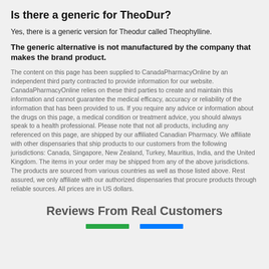Is there a generic for TheoDur?
Yes, there is a generic version for Theodur called Theophylline.
The generic alternative is not manufactured by the company that makes the brand product.
The content on this page has been supplied to CanadaPharmacyOnline by an independent third party contracted to provide information for our website. CanadaPharmacyOnline relies on these third parties to create and maintain this information and cannot guarantee the medical efficacy, accuracy or reliability of the information that has been provided to us. If you require any advice or information about the drugs on this page, a medical condition or treatment advice, you should always speak to a health professional. Please note that not all products, including any referenced on this page, are shipped by our affiliated Canadian Pharmacy. We affiliate with other dispensaries that ship products to our customers from the following jurisdictions: Canada, Singapore, New Zealand, Turkey, Mauritius, India, and the United Kingdom. The items in your order may be shipped from any of the above jurisdictions. The products are sourced from various countries as well as those listed above. Rest assured, we only affiliate with our authorized dispensaries that procure products through reliable sources. All prices are in US dollars.
Reviews From Real Customers